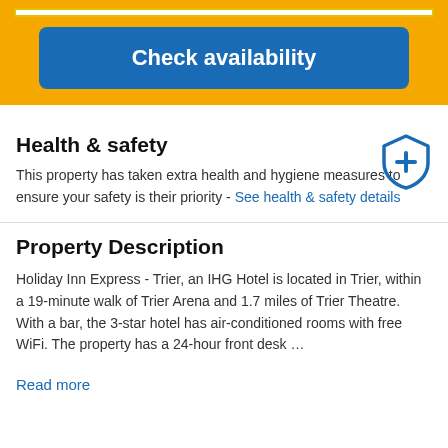[Figure (other): Yellow booking bar with white input strip at top and a blue 'Check availability' button]
Health & safety
This property has taken extra health and hygiene measures to ensure your safety is their priority - See health & safety details
Property Description
Holiday Inn Express - Trier, an IHG Hotel is located in Trier, within a 19-minute walk of Trier Arena and 1.7 miles of Trier Theatre. With a bar, the 3-star hotel has air-conditioned rooms with free WiFi. The property has a 24-hour front desk …
Read more